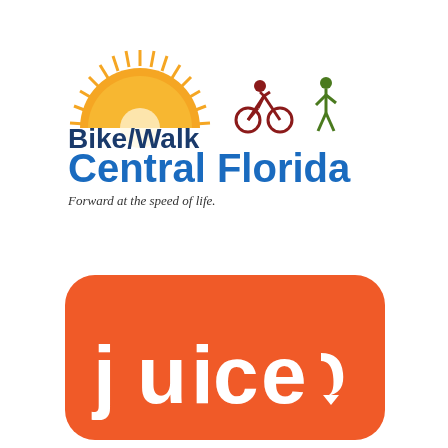[Figure (logo): Bike/Walk Central Florida logo with sun/semicircle graphic, cyclist and walker icons, text 'Bike/Walk Central Florida' in navy/blue, tagline 'Forward at the speed of life.']
[Figure (logo): Juice app logo - orange rounded square with white 'juice' text in lowercase with a directional arrow replacing the final 'e']